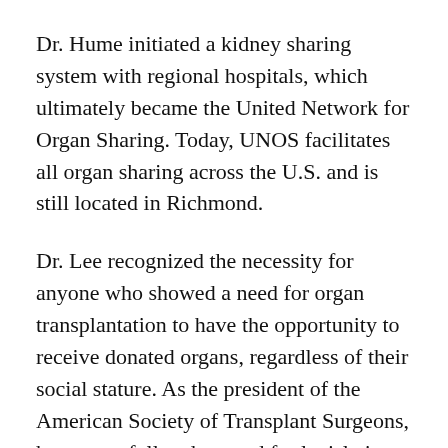Dr. Hume initiated a kidney sharing system with regional hospitals, which ultimately became the United Network for Organ Sharing. Today, UNOS facilitates all organ sharing across the U.S. and is still located in Richmond.
Dr. Lee recognized the necessity for anyone who showed a need for organ transplantation to have the opportunity to receive donated organs, regardless of their social stature. As the president of the American Society of Transplant Surgeons, he successfully advocated for legislation to make the sale of human organs illegal. This position has become a standard that is considered a non-negotiable moral compass in the U.S. and is championed by experts such as MCV alumnus Francis Robicsek, MD, who...